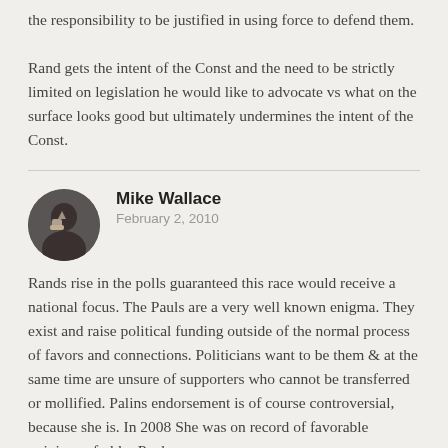the responsibility to be justified in using force to defend them.

Rand gets the intent of the Const and the need to be strictly limited on legislation he would like to advocate vs what on the surface looks good but ultimately undermines the intent of the Const.
[Figure (photo): Circular avatar photo of commenter Mike Wallace showing a person with raised thumb gesture in a dark setting]
Mike Wallace
February 2, 2010
Rands rise in the polls guaranteed this race would receive a national focus. The Pauls are a very well known enigma. They exist and raise political funding outside of the normal process of favors and connections. Politicians want to be them & at the same time are unsure of supporters who cannot be transferred or mollified. Palins endorsement is of course controversial, because she is. In 2008 She was on record of favorable opinions of older Paul.
Both Pauls have spent a lifetime advancing the philosophy of liberty laid out in the Declaration of Indep. They know that the Const. is a framework for